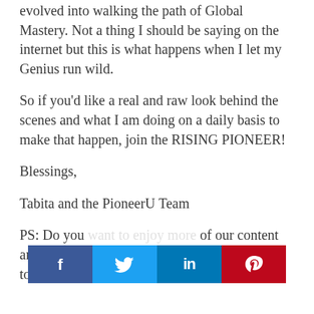evolved into walking the path of Global Mastery. Not a thing I should be saying on the internet but this is what happens when I let my Genius run wild.
So if you'd like a real and raw look behind the scenes and what I am doing on a daily basis to make that happen, join the RISING PIONEER!
Blessings,
Tabita and the PioneerU Team
PS: Do you want to enjoy more of our content and like... we would love to have you join us in the Rising Pioneer™
[Figure (infographic): Social share bar with Facebook, Twitter, LinkedIn, and Pinterest buttons]